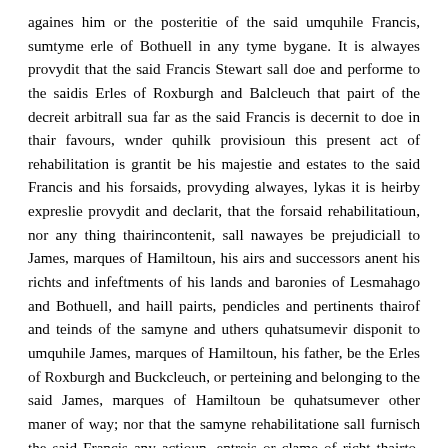againes him or the posteritie of the said umquhile Francis, sumtyme erle of Bothuell in any tyme bygane. It is alwayes provydit that the said Francis Stewart sall doe and performe to the saidis Erles of Roxburgh and Balcleuch that pairt of the decreit arbitrall sua far as the said Francis is decernit to doe in thair favours, wnder quhilk provisioun this present act of rehabilitation is grantit be his majestie and estates to the said Francis and his forsaids, provyding alwayes, lykas it is heirby expreslie provydit and declarit, that the forsaid rehabilitatioun, nor any thing thairincontenit, sall nawayes be prejudiciall to James, marques of Hamiltoun, his airs and successors anent his richts and infeftments of his lands and baronies of Lesmahago and Bothuell, and haill pairts, pendicles and pertinents thairof and teinds of the samyne and uthers quhatsumevir disponit to umquhile James, marques of Hamiltoun, his father, be the Erles of Roxburgh and Buckcleuch, or perteining and belonging to the said James, marques of Hamiltoun be quhatsumever other maner of way; nor that the samyne rehabilitatione sall furnisch the said Francis any actioun, entreis or clame of richt thairto, bot that notwithstanding thairof the said James, marques of Hamiltoun,